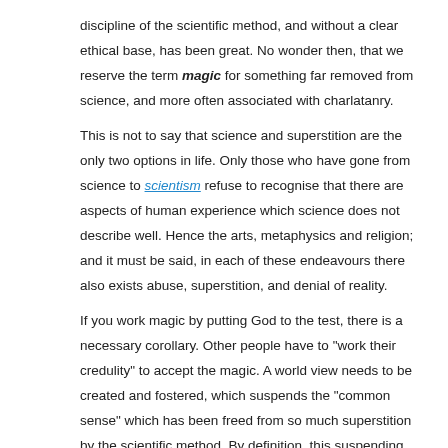discipline of the scientific method, and without a clear ethical base, has been great. No wonder then, that we reserve the term magic for something far removed from science, and more often associated with charlatanry.
This is not to say that science and superstition are the only two options in life. Only those who have gone from science to scientism refuse to recognise that there are aspects of human experience which science does not describe well. Hence the arts, metaphysics and religion; and it must be said, in each of these endeavours there also exists abuse, superstition, and denial of reality.
If you work magic by putting God to the test, there is a necessary corollary. Other people have to "work their credulity" to accept the magic. A world view needs to be created and fostered, which suspends the "common sense" which has been freed from so much superstition by the scientific method. By definition, this suspending of common sense, in the face of valid scientific critique,  is a denial of reality. It must then, be abusive. We know that if we bang our heads against a wall, or cross the road without looking, reality will not be denied.
Karen Armstrong says that religion is an art, and that just as there is bad art,